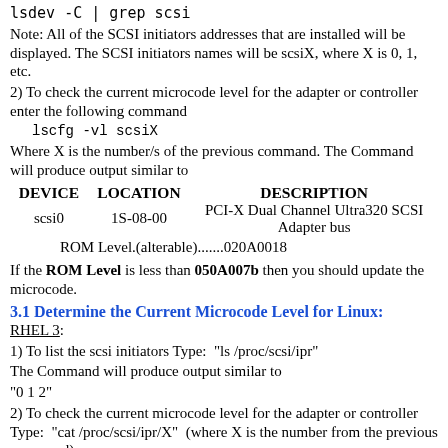lsdev -C | grep scsi
Note: All of the SCSI initiators addresses that are installed will be displayed. The SCSI initiators names will be scsiX, where X is 0, 1, etc.
2) To check the current microcode level for the adapter or controller enter the following command
lscfg -vl scsiX
Where X is the number/s of the previous command. The Command will produce output similar to
| DEVICE | LOCATION | DESCRIPTION |
| --- | --- | --- |
| scsi0 | 1S-08-00 | PCI-X Dual Channel Ultra320 SCSI Adapter bus |
ROM Level.(alterable).......020A0018
If the ROM Level is less than 050A007b then you should update the microcode.
3.1 Determine the Current Microcode Level for Linux:
RHEL 3:
1) To list the scsi initiators Type:  "ls /proc/scsi/ipr"
The Command will produce output similar to
"0 1 2"
2) To check the current microcode level for the adapter or controller Type:  "cat /proc/scsi/ipr/X"  (where X is the number from the previous command)